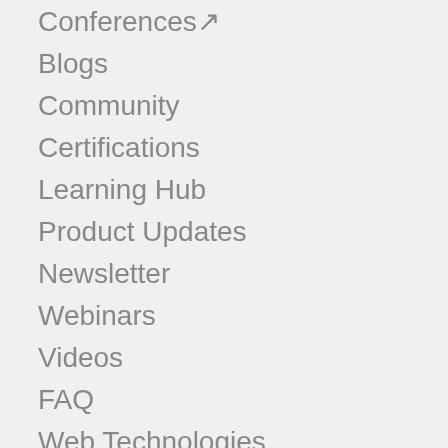Conferences↗
Blogs
Community
Certifications
Learning Hub
Product Updates
Newsletter
Webinars
Videos
FAQ
Web Technologies
Automation Advisor
Sitemap
Status